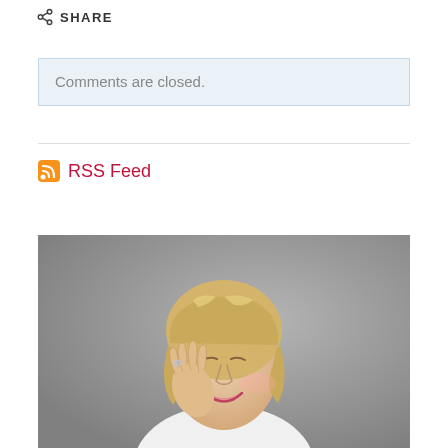SHARE
Comments are closed.
RSS Feed
[Figure (photo): A smiling middle-aged woman with blonde hair, eyes closed, touching her cheek with her hand, wearing a white top, photographed against a gray background.]